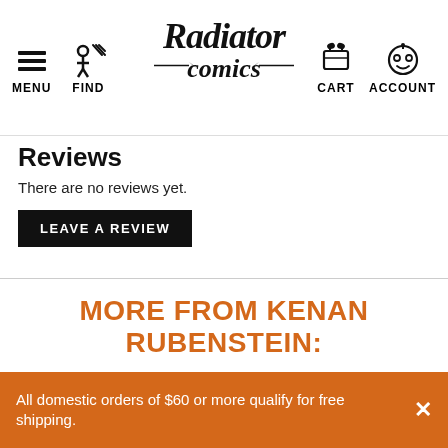MENU  FIND  Radiator Comics  CART  ACCOUNT
Reviews
There are no reviews yet.
LEAVE A REVIEW
MORE FROM KENAN RUBENSTEIN:
Intricate worlds, complex reading experiences, and sharp language skills!
All domestic orders of $60 or more qualify for free shipping.